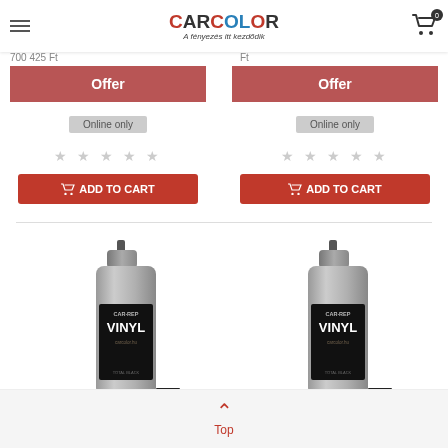CarColor - A fényezés itt kezdődik
700 425 Ft
Offer
Online only
★ ★ ★ ★ ★
ADD TO CART
Offer
Online only
★ ★ ★ ★ ★
ADD TO CART
[Figure (photo): CAR-REP Vinyl spray can product image]
[Figure (photo): CAR-REP Vinyl spray can product image]
Top